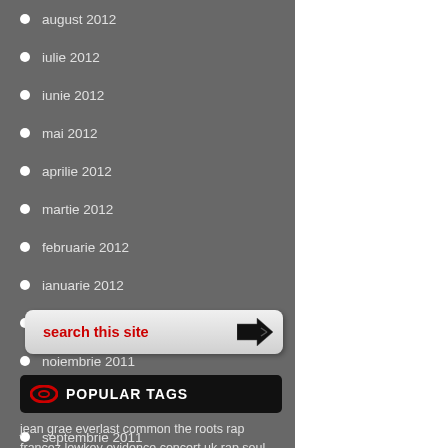august 2012
iulie 2012
iunie 2012
mai 2012
aprilie 2012
martie 2012
februarie 2012
ianuarie 2012
decembrie 2011
noiembrie 2011
octombrie 2011
septembrie 2011
august 2011
search this site
POPULAR TAGS
jean grae everlast common the roots rap francez lowkey evidence concert uk rap soul khan ski